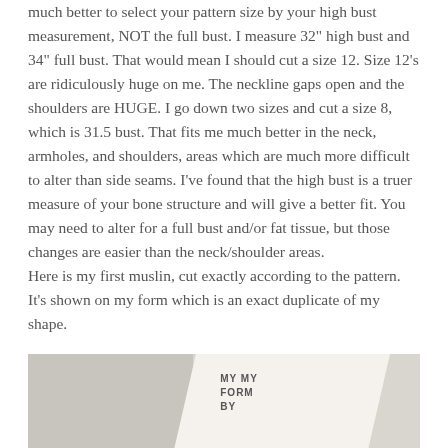much better to select your pattern size by your high bust measurement, NOT the full bust. I measure 32" high bust and 34" full bust. That would mean I should cut a size 12. Size 12's are ridiculously huge on me. The neckline gaps open and the shoulders are HUGE. I go down two sizes and cut a size 8, which is 31.5 bust. That fits me much better in the neck, armholes, and shoulders, areas which are much more difficult to alter than side seams. I've found that the high bust is a truer measure of your bone structure and will give a better fit. You may need to alter for a full bust and/or fat tissue, but those changes are easier than the neck/shoulder areas.
Here is my first muslin, cut exactly according to the pattern. It's shown on my form which is an exact duplicate of my shape.
[Figure (photo): Photo of a white muslin garment on a dress form, partially visible at bottom of page. Text on dress form reads 'MY FORM BY'.]